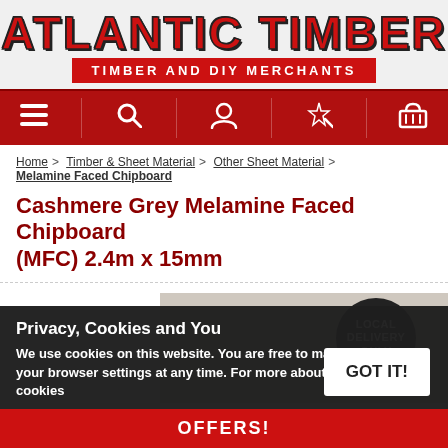[Figure (logo): Atlantic Timber logo with red bold text and 'TIMBER AND DIY MERCHANTS' subtitle in red box]
[Figure (screenshot): Navigation bar with red background showing hamburger menu, search, user, magic wand, and basket icons]
Home > Timber & Sheet Material > Other Sheet Material > Melamine Faced Chipboard
Cashmere Grey Melamine Faced Chipboard (MFC) 2.4m x 15mm
[Figure (photo): Product image showing cashmere grey melamine faced chipboard panel with 'LOCAL DELIVERY ONLY' badge]
Privacy, Cookies and You
We use cookies on this website. You are free to manage these via your browser settings at any time. For more about how we use cookies
GOT IT!
OFFERS!